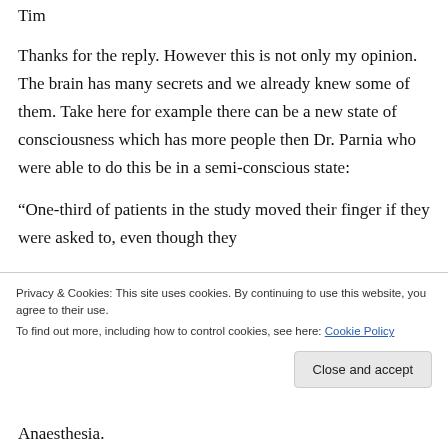Tim
Thanks for the reply. However this is not only my opinion. The brain has many secrets and we already knew some of them. Take here for example there can be a new state of consciousness which has more people then Dr. Parnia who were able to do this be in a semi-conscious state:
“One-third of patients in the study moved their finger if they were asked to, even though they
Privacy & Cookies: This site uses cookies. By continuing to use this website, you agree to their use.
To find out more, including how to control cookies, see here: Cookie Policy
Anaesthesia.